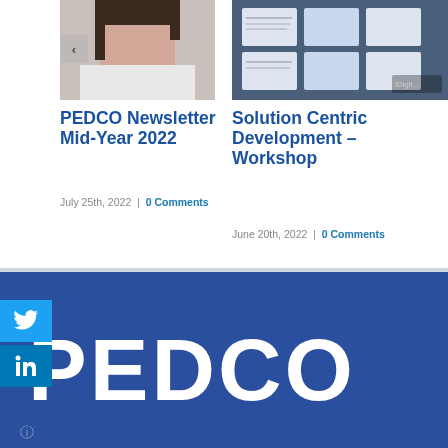[Figure (photo): Photo of a person in white top, partially visible, cropped at top]
PEDCO Newsletter Mid-Year 2022
July 25th, 2022  |  0 Comments
[Figure (screenshot): Screenshot of engineering/design documents on a screen]
Solution Centric Development – Workshop
June 20th, 2022  |  0 Comments
[Figure (logo): PEDCO logo in white text on dark blue background]